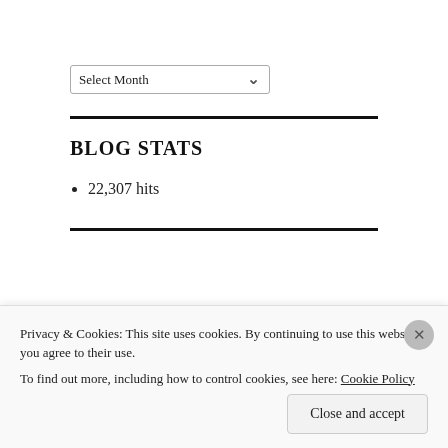Select Month (dropdown)
BLOG STATS
22,307 hits
Privacy & Cookies: This site uses cookies. By continuing to use this website, you agree to their use. To find out more, including how to control cookies, see here: Cookie Policy
Close and accept